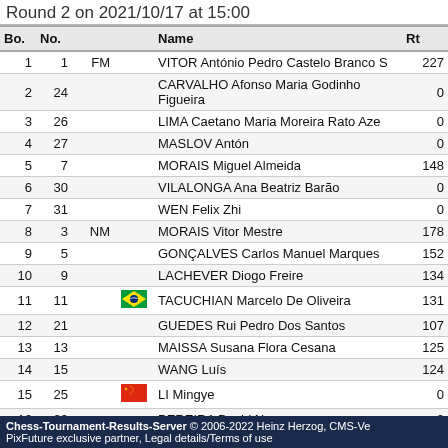Round 2 on 2021/10/17 at 15:00
| Bo. | No. |  |  | Name | Rt |
| --- | --- | --- | --- | --- | --- |
| 1 | 1 | FM |  | VITOR António Pedro Castelo Branco S | 227 |
| 2 | 24 |  |  | CARVALHO Afonso Maria Godinho Figueira | 0 |
| 3 | 26 |  |  | LIMA Caetano Maria Moreira Rato Aze | 0 |
| 4 | 27 |  |  | MASLOV Antón | 0 |
| 5 | 7 |  |  | MORAIS Miguel Almeida | 148 |
| 6 | 30 |  |  | VILALONGA Ana Beatriz Barão | 0 |
| 7 | 31 |  |  | WEN Felix Zhi | 0 |
| 8 | 3 | NM |  | MORAIS Vitor Mestre | 178 |
| 9 | 5 |  |  | GONÇALVES Carlos Manuel Marques | 152 |
| 10 | 9 |  |  | LACHEVER Diogo Freire | 134 |
| 11 | 11 |  | 🇧🇷 | TACUCHIAN Marcelo De Oliveira | 131 |
| 12 | 21 |  |  | GUEDES Rui Pedro Dos Santos | 107 |
| 13 | 13 |  |  | MAISSA Susana Flora Cesana | 125 |
| 14 | 15 |  |  | WANG Luís | 124 |
| 15 | 25 |  | 🇨🇳 | LI Mingye | 0 |
| 16 | 29 |  |  | PEREIRA David Nunes | 0 |
Chess-Tournament-Results-Server © 2006-2022 Heinz Herzog, CMS-Ve PixFuture exclusive partner, Legal details/Terms of use